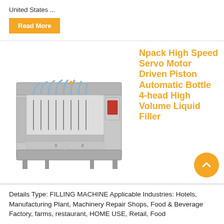United States ...
Read More
[Figure (photo): Industrial high-speed servo motor driven piston automatic bottle filling machine with multiple fill heads and stainless steel construction]
Npack High Speed Servo Motor Driven Piston Automatic Bottle 4-head High Volume Liquid Filler
Details Type: FILLING MACHINE Applicable Industries: Hotels, Manufacturing Plant, Machinery Repair Shops, Food & Beverage Factory, farms, restaurant, HOME USE, Retail, Food